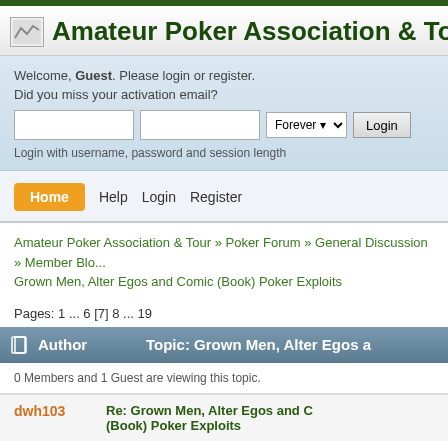Amateur Poker Association & Tour
Welcome, Guest. Please login or register. Did you miss your activation email?
Login with username, password and session length
Home  Help  Login  Register
Amateur Poker Association & Tour » Poker Forum » General Discussion » Member Blog: Grown Men, Alter Egos and Comic (Book) Poker Exploits
Pages: 1 ... 6 [7] 8 ... 19
Author   Topic: Grown Men, Alter Egos a...
0 Members and 1 Guest are viewing this topic.
dwh103   Re: Grown Men, Alter Egos and C(Book) Poker Exploits